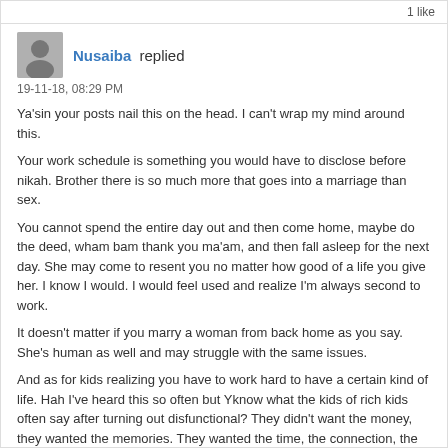1 like
Nusaiba replied
19-11-18, 08:29 PM

Ya'sin your posts nail this on the head. I can't wrap my mind around this.

Your work schedule is something you would have to disclose before nikah. Brother there is so much more that goes into a marriage than sex.

You cannot spend the entire day out and then come home, maybe do the deed, wham bam thank you ma'am, and then fall asleep for the next day. She may come to resent you no matter how good of a life you give her. I know I would. I would feel used and realize I'm always second to work.

It doesn't matter if you marry a woman from back home as you say. She's human as well and may struggle with the same issues.

And as for kids realizing you have to work hard to have a certain kind of life. Hah I've heard this so often but Yknow what the kids of rich kids often say after turning out disfunctional? They didn't want the money, they wanted the memories. They wanted the time, the connection, the love. If you keep this schedule you may never even see your children until those vacation times! What kind of life is that? Authubillah.